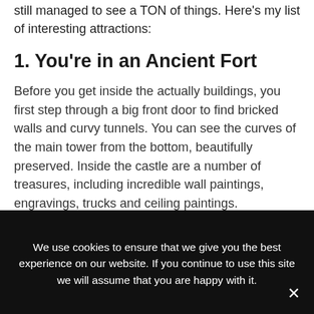still managed to see a TON of things. Here's my list of interesting attractions:
1. You're in an Ancient Fort
Before you get inside the actually buildings, you first step through a big front door to find bricked walls and curvy tunnels. You can see the curves of the main tower from the bottom, beautifully preserved. Inside the castle are a number of treasures, including incredible wall paintings, engravings, trucks and ceiling paintings. Throughout the year they host a
We use cookies to ensure that we give you the best experience on our website. If you continue to use this site we will assume that you are happy with it.